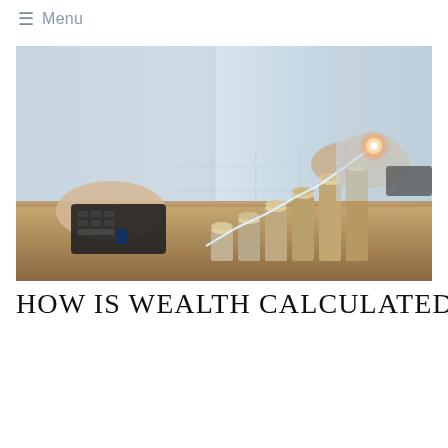☰ Menu
[Figure (photo): A person in a white shirt using a calculator on a wooden desk, with stacks of coins arranged in ascending height forming a bar-chart-like pattern, overlaid with a glowing upward-trending digital line graph, representing financial growth and wealth calculation.]
HOW IS WEALTH CALCULATED?